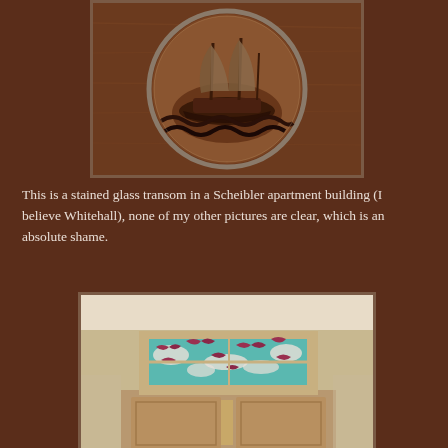[Figure (photo): A circular wooden carved relief depicting a sailing ship on waves, set in a dark wood panel with a silver/metal rim]
This is a stained glass transom in a Scheibler apartment building (I believe Whitehall), none of my other pictures are clear, which is an absolute shame.
[Figure (photo): Interior photo of a room showing a stained glass transom window above a doorway, featuring colorful birds (swallows/swifts) in purple/red against a turquoise and white background, with windows and a partially open door visible below]